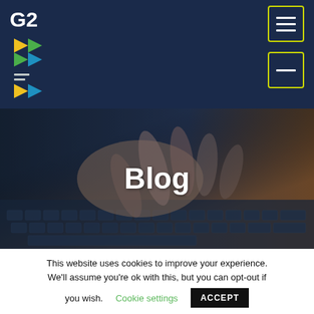G2 logo and navigation header with hamburger menu icons
[Figure (photo): Hands typing on a laptop keyboard, dark blue overlay with warm orange light in background]
Blog
This website uses cookies to improve your experience. We'll assume you're ok with this, but you can opt-out if you wish.  Cookie settings  ACCEPT